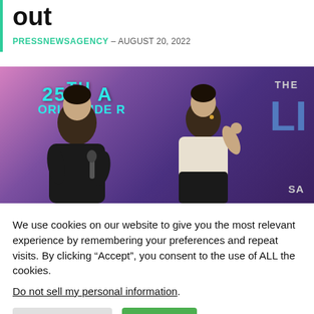out
PRESSNEWSAGENCY – AUGUST 20, 2022
[Figure (photo): Two people at an event in front of a purple/pink backdrop with text '25TH A... ORLD WIDE R...' and 'THE' visible on the right side, with large blue numbers partially visible.]
We use cookies on our website to give you the most relevant experience by remembering your preferences and repeat visits. By clicking “Accept”, you consent to the use of ALL the cookies.
Do not sell my personal information.
Cookie Settings   Accept